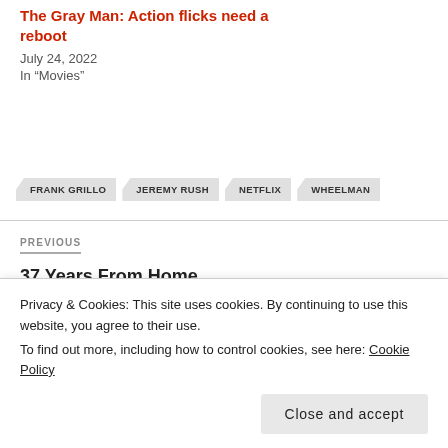The Gray Man: Action flicks need a reboot
July 24, 2022
In "Movies"
FRANK GRILLO
JEREMY RUSH
NETFLIX
WHEELMAN
PREVIOUS
37 Years From Home
Privacy & Cookies: This site uses cookies. By continuing to use this website, you agree to their use. To find out more, including how to control cookies, see here: Cookie Policy